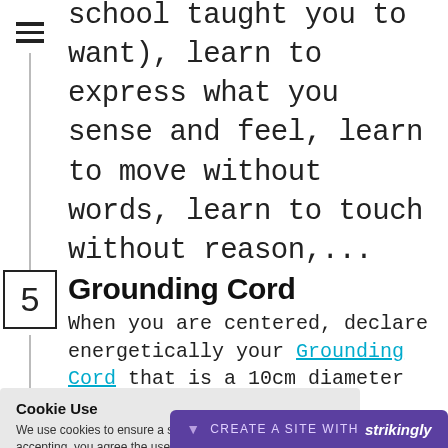school taught you to want), learn to express what you sense and feel, learn to move without words, learn to touch without reason,...
5 Grounding Cord — When you are centered, declare energetically your Grounding Cord that is a 10cm diameter cord linking your [first chakra to the] Center of Gaia.
Cookie Use — We use cookies to ensure a smooth browsing experience. By accepting, you agree the use of cookies. Learn More
CREATE A SITE WITH strikingly